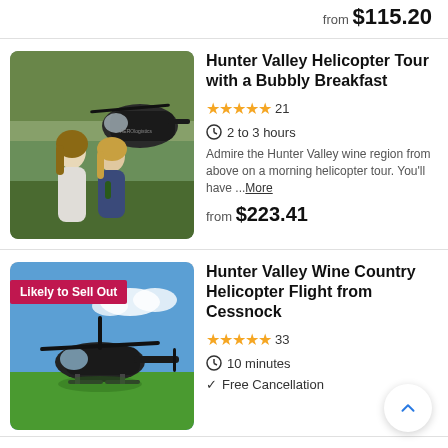from $115.20
Hunter Valley Helicopter Tour with a Bubbly Breakfast
★★★★★ 21
2 to 3 hours
Admire the Hunter Valley wine region from above on a morning helicopter tour. You'll have ...More
from $223.41
[Figure (photo): Two women standing near a helicopter outdoors]
Hunter Valley Wine Country Helicopter Flight from Cessnock
★★★★★ 33
10 minutes
Free Cancellation
[Figure (photo): Helicopter parked on green grass, blue sky background, with 'Likely to Sell Out' badge]